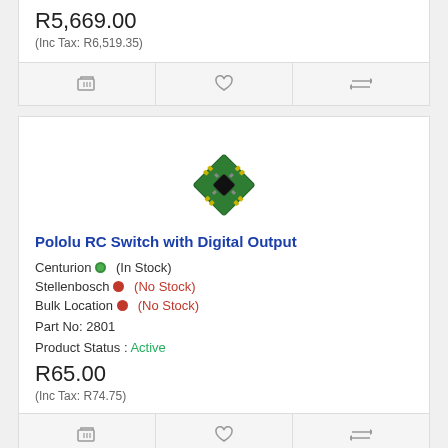R5,669.00
(Inc Tax: R6,519.35)
[Figure (other): Shopping cart, heart, and compare icons action bar]
[Figure (photo): Pololu RC Switch with Digital Output product image - small green PCB circuit board in diamond orientation]
Pololu RC Switch with Digital Output
Centurion (In Stock)
Stellenbosch (No Stock)
Bulk Location (No Stock)
Part No: 2801
Product Status : Active
R65.00
(Inc Tax: R74.75)
[Figure (other): Shopping cart, heart, and compare icons action bar]